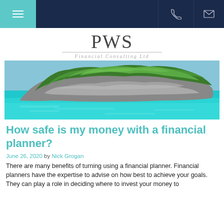PWS Financial Consulting Ltd — navigation bar
[Figure (logo): PWS Financial Consulting Ltd logo with large PWS text and italic tagline]
[Figure (photo): Tropical rocky island with lush green vegetation surrounded by turquoise sea water]
How safe is my money with a financial planner?
June 26, 2020 by Nick Grogan
There are many benefits of turning using a financial planner. Financial planners have the expertise to advise on how best to achieve your goals. They can play a role in deciding where to invest your money to